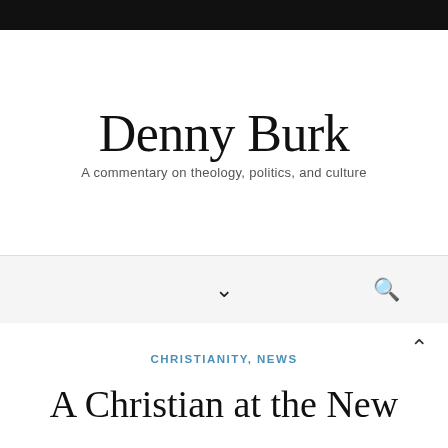Denny Burk
A commentary on theology, politics, and culture
CHRISTIANITY, NEWS
A Christian at the New